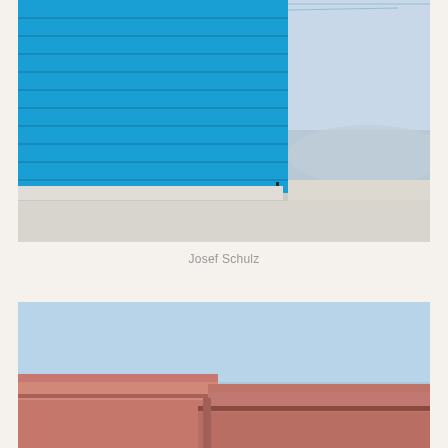[Figure (photo): Close-up photograph of a bright blue horizontal corrugated metal wall facade of a building. The left two-thirds shows the vivid blue paneling with subtle horizontal seam lines. The right portion reveals a pale blue sky and distant hazy mountains. The bottom shows a white concrete ground or roof surface.]
Josef Schulz
[Figure (photo): Architectural photograph of reddish-pink brick or terracotta building blocks/volumes against a clear light blue sky. Two offset rectangular box shapes of warm salmon-pink masonry are visible, with a dark horizontal shadow line separating them.]